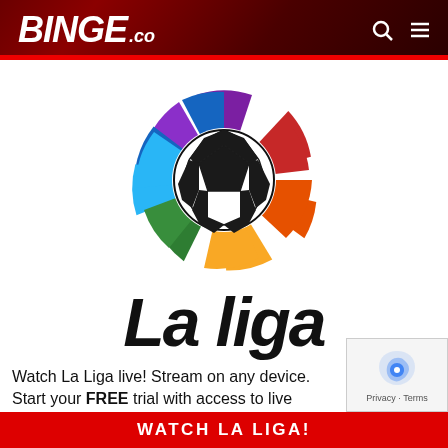BINGE.co
[Figure (logo): La Liga colorful spinning logo with soccer ball in center. Segments colored purple, blue, light blue, green, yellow, orange, red arranged in a circular pinwheel pattern around a black and white soccer ball.]
LaLiga
Watch La Liga live! Stream on any device. Start your FREE trial with access to live sports, news, TV shows & m...
WATCH LA LIGA!